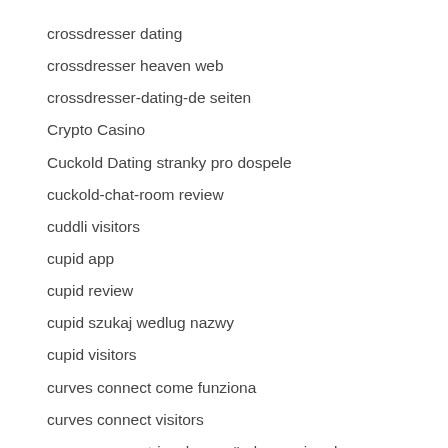crossdresser dating
crossdresser heaven web
crossdresser-dating-de seiten
Crypto Casino
Cuckold Dating stranky pro dospele
cuckold-chat-room review
cuddli visitors
cupid app
cupid review
cupid szukaj wedlug nazwy
cupid visitors
curves connect come funziona
curves connect visitors
curves-connect-inceleme gözden geçirmek
curves-connect-overzicht beoordelingen